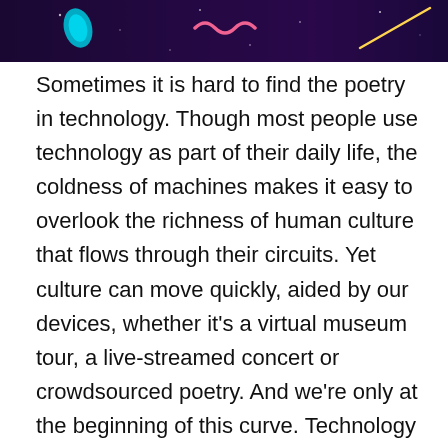[Figure (illustration): Dark purple/navy banner with decorative elements: a teal teardrop shape on the left, a pink squiggle/wave in the center, and a yellow diagonal line on the right, all on a dark gradient background.]
Sometimes it is hard to find the poetry in technology. Though most people use technology as part of their daily life, the coldness of machines makes it easy to overlook the richness of human culture that flows through their circuits. Yet culture can move quickly, aided by our devices, whether it's a virtual museum tour, a live-streamed concert or crowdsourced poetry. And we're only at the beginning of this curve. Technology offers a myriad of opportunities for art, expanding how it challenges us, triggers reflection, awakens